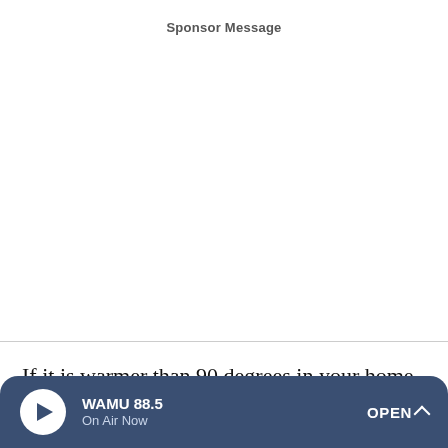Sponsor Message
If it is warmer than 90 degrees in your home, blowing warm air with a portable fan your way will actually dehydrate you
WAMU 88.5 On Air Now OPEN